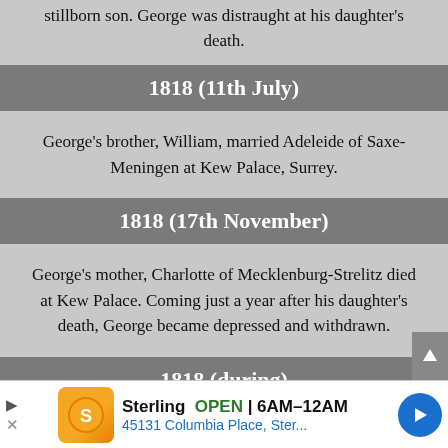stillborn son. George was distraught at his daughter's death.
1818 (11th July)
George's brother, William, married Adeleide of Saxe-Meningen at Kew Palace, Surrey.
1818 (17th November)
George's mother, Charlotte of Mecklenburg-Strelitz died at Kew Palace. Coming just a year after his daughter's death, George became depressed and withdrawn.
1818 (during)
George ended his relationship with Lady Hertford.
[Figure (infographic): Advertisement banner: Sterling restaurant, OPEN 6AM-12AM, 45131 Columbia Place, Ster...]